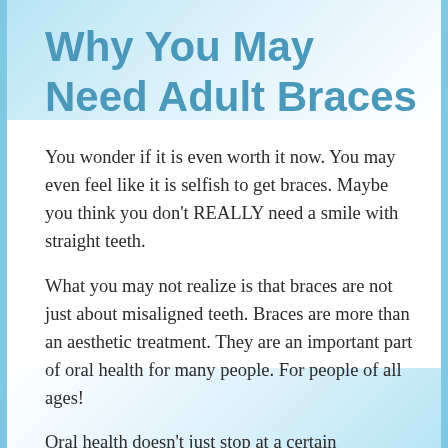Why You May Need Adult Braces
You wonder if it is even worth it now. You may even feel like it is selfish to get braces. Maybe you think you don't REALLY need a smile with straight teeth.
What you may not realize is that braces are not just about misaligned teeth. Braces are more than an aesthetic treatment. They are an important part of oral health for many people. For people of all ages!
Oral health doesn't just stop at a certain